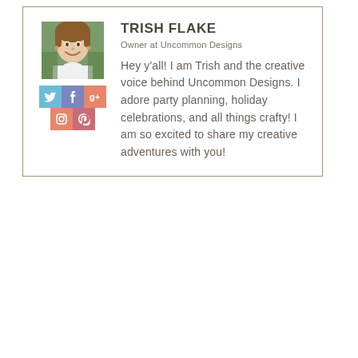[Figure (photo): Headshot photo of Trish Flake, a woman with brown hair smiling, wearing a white top]
[Figure (infographic): Social media icons: Twitter (blue bird), Facebook (blue f), Google+ (red g+), Instagram (red camera), Pinterest (red/pink p)]
TRISH FLAKE
Owner at Uncommon Designs
Hey y'all! I am Trish and the creative voice behind Uncommon Designs. I adore party planning, holiday celebrations, and all things crafty! I am so excited to share my creative adventures with you!